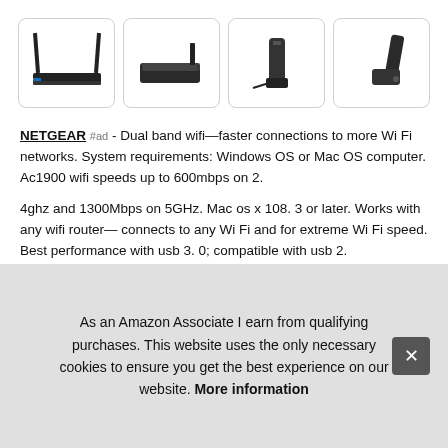[Figure (photo): Four product thumbnail images of NETGEAR wifi adapters/routers in rounded-corner bordered boxes]
NETGEAR #ad - Dual band wifi—faster connections to more Wi Fi networks. System requirements: Windows OS or Mac OS computer. Ac1900 wifi speeds up to 600mbps on 2.
4ghz and 1300Mbps on 5GHz. Mac os x 108. 3 or later. Works with any wifi router— connects to any Wi Fi and for extreme Wi Fi speed. Best performance with usb 3. 0; compatible with usb 2.
0 m
star
As an Amazon Associate I earn from qualifying purchases. This website uses the only necessary cookies to ensure you get the best experience on our website. More information